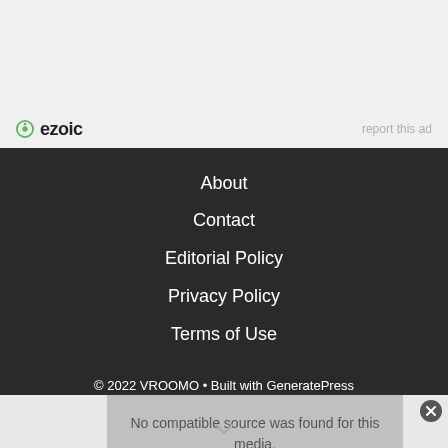[Figure (logo): Ezoic logo with green circular icon and bold 'ezoic' text, plus 'report this ad' link on the right]
About
Contact
Editorial Policy
Privacy Policy
Terms of Use
© 2022 VROOMO • Built with GeneratePress
No compatible source was found for this media.